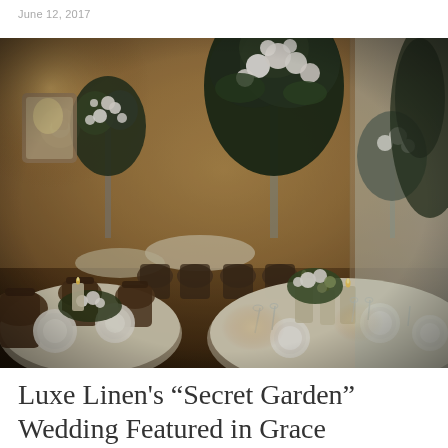June 12, 2017
[Figure (photo): Elegant wedding reception venue with round tables set with white linens, candles, crystal glassware, and tall floral centerpieces of white roses and greenery. Dark wood Louis-style chairs are arranged around the tables. Warm amber lighting fills the ballroom space.]
Luxe Linen’s “Secret Garden” Wedding Featured in Grace